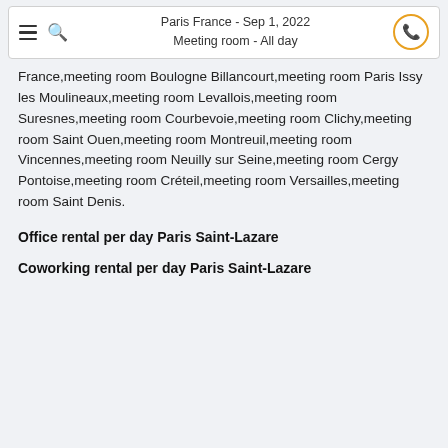Paris France - Sep 1, 2022
Meeting room - All day
France,meeting room Boulogne Billancourt,meeting room Paris Issy les Moulineaux,meeting room Levallois,meeting room Suresnes,meeting room Courbevoie,meeting room Clichy,meeting room Saint Ouen,meeting room Montreuil,meeting room Vincennes,meeting room Neuilly sur Seine,meeting room Cergy Pontoise,meeting room Créteil,meeting room Versailles,meeting room Saint Denis.
Office rental per day Paris Saint-Lazare
Coworking rental per day Paris Saint-Lazare